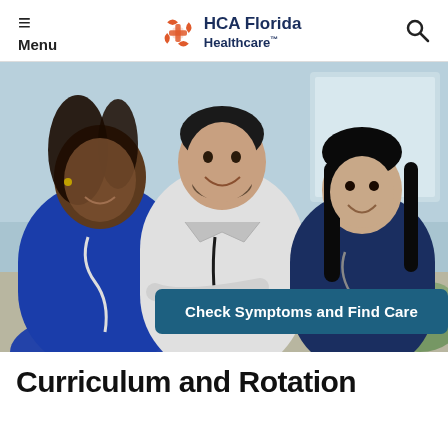Menu | HCA Florida Healthcare
[Figure (photo): Three smiling healthcare professionals: a Black woman in blue scrubs on the left, a man in a white lab coat in the center, and an Asian woman in navy scrubs on the right, appearing to be in a meeting or learning environment.]
Check Symptoms and Find Care
Curriculum and Rotation